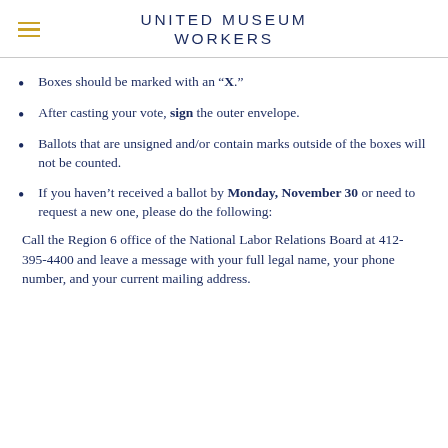UNITED MUSEUM WORKERS
Boxes should be marked with an “X.”
After casting your vote, sign the outer envelope.
Ballots that are unsigned and/or contain marks outside of the boxes will not be counted.
If you haven’t received a ballot by Monday, November 30 or need to request a new one, please do the following:
Call the Region 6 office of the National Labor Relations Board at 412-395-4400 and leave a message with your full legal name, your phone number, and your current mailing address.